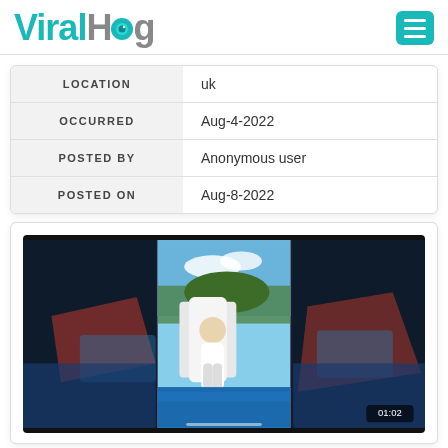ViralHog
| Field | Value |
| --- | --- |
| LOCATION | uk |
| OCCURRED | Aug-4-2022 |
| POSTED BY | Anonymous user |
| POSTED ON | Aug-8-2022 |
[Figure (screenshot): Video thumbnail showing a person on an inflatable water slide. Duration badge shows 01:02. Dark blurred background with a centered vertical video frame showing outdoor summer scene.]
Babies Be Bouncing Mechanical Bull...